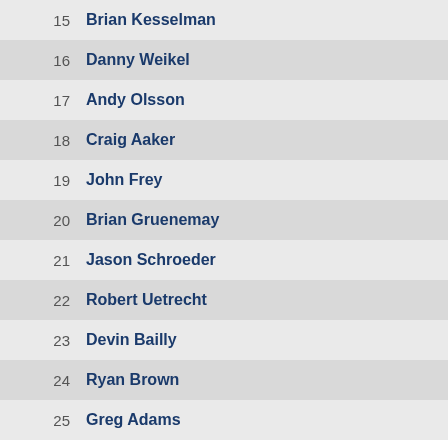15  Brian Kesselman
16  Danny Weikel
17  Andy Olsson
18  Craig Aaker
19  John Frey
20  Brian Gruenemay
21  Jason Schroeder
22  Robert Uetrecht
23  Devin Bailly
24  Ryan Brown
25  Greg Adams